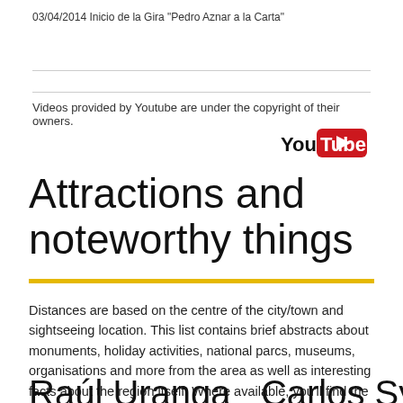03/04/2014 Inicio de la Gira "Pedro Aznar a la Carta"
Videos provided by Youtube are under the copyright of their owners.
[Figure (logo): YouTube logo — red rounded rectangle with white play button, 'You' in black and 'Tube' in white on red background]
Attractions and noteworthy things
Distances are based on the centre of the city/town and sightseeing location. This list contains brief abstracts about monuments, holiday activities, national parcs, museums, organisations and more from the area as well as interesting facts about the region itself. Where available, you'll find the corresponding homepage. Otherwise the related wikipedia article.
Raúl Uranga   Carlos Sylvestre